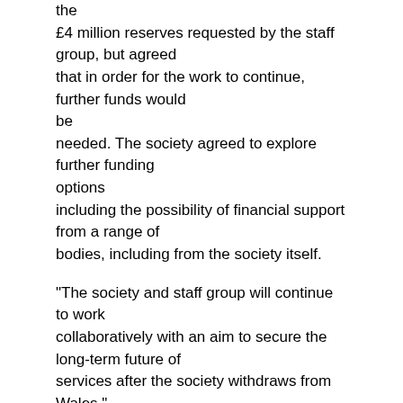the £4 million reserves requested by the staff group, but agreed that in order for the work to continue, further funds would be needed. The society agreed to explore further funding options including the possibility of financial support from a range of bodies, including from the society itself.
“The society and staff group will continue to work collaboratively with an aim to secure the long-term future of services after the society withdraws from Wales.”
George Jones of the Wales staff group said: “There were three requests that were put to the Board. First will you change your minds about pulling out, to which the answer was ‘No’. Second we wanted what we considered to be a moral slice of the